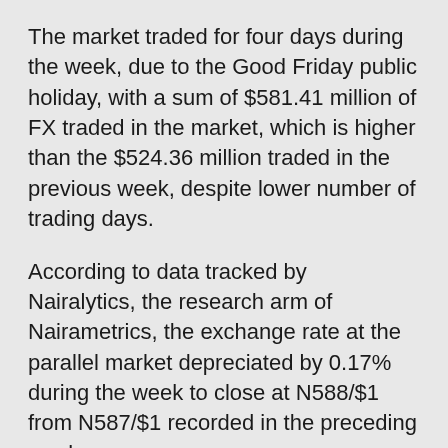The market traded for four days during the week, due to the Good Friday public holiday, with a sum of $581.41 million of FX traded in the market, which is higher than the $524.36 million traded in the previous week, despite lower number of trading days.
According to data tracked by Nairalytics, the research arm of Nairametrics, the exchange rate at the parallel market depreciated by 0.17% during the week to close at N588/$1 from N587/$1 recorded in the preceding week.
In the same vein, exchange rate at the P2P market dropped sharply by 2.3% to trade at a minimum of N589/$1 as of Friday, 15th April 2022 compared to N576/$1 recorded on Friday, 8th April 2022.